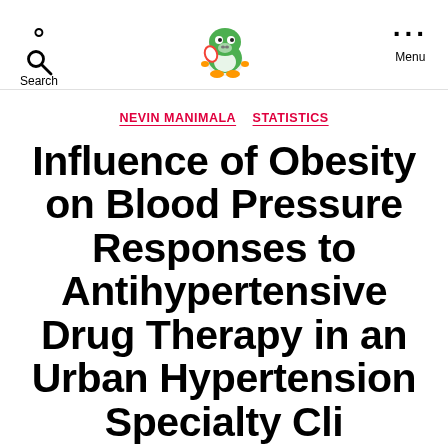Search | [Yoshi logo] | Menu
NEVIN MANIMALA   STATISTICS
Influence of Obesity on Blood Pressure Responses to Antihypertensive Drug Therapy in an Urban Hypertension Specialty Clinic